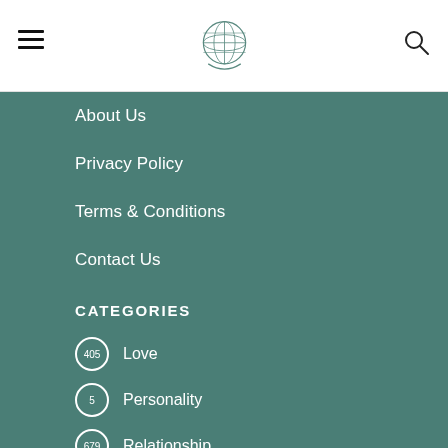Navigation header with logo, hamburger menu, and search icon
About Us
Privacy Policy
Terms & Conditions
Contact Us
CATEGORIES
405 Love
5 Personality
679 Relationship
3630 Zodiac
NEW POSTS
[Figure (screenshot): Thumbnail image with dark red background and bold white italic text: With Which You Can Have A]
ZODIAC
The Sign With Which You Can Have A